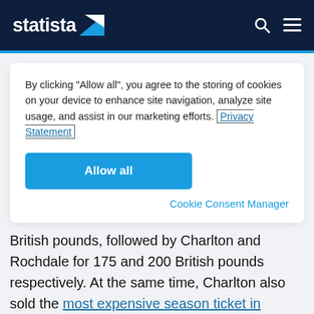statista
By clicking “Allow all”, you agree to the storing of cookies on your device to enhance site navigation, analyze site usage, and assist in our marketing efforts. Privacy Statement
Allow all
Cookie Consent Manager
British pounds, followed by Charlton and Rochdale for 175 and 200 British pounds respectively. At the same time, Charlton also sold the most expensive season ticket in League One at 500 British pounds, giving Charlton’s season ticket the widest price range. The English League One is the third highest football league in England, behind the Championship and the Premier League.